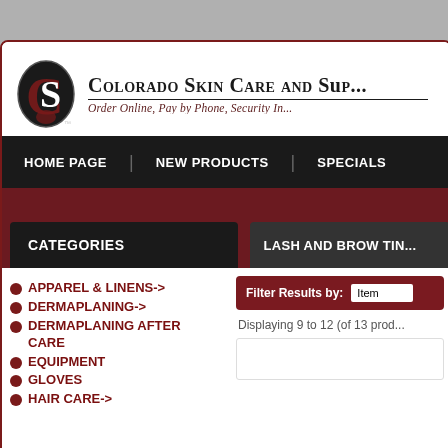[Figure (logo): Colorado Skin Care and Supplies logo with stylized CSS letters in black and dark red]
Colorado Skin Care and Sup...
Order Online, Pay by Phone, Security In...
HOME PAGE | NEW PRODUCTS | SPECIALS
CATEGORIES
LASH AND BROW TIN...
APPAREL & LINENS->
DERMAPLANING->
DERMAPLANING AFTER CARE
EQUIPMENT
GLOVES
HAIR CARE->
Filter Results by:
Displaying 9 to 12 (of 13 prod...